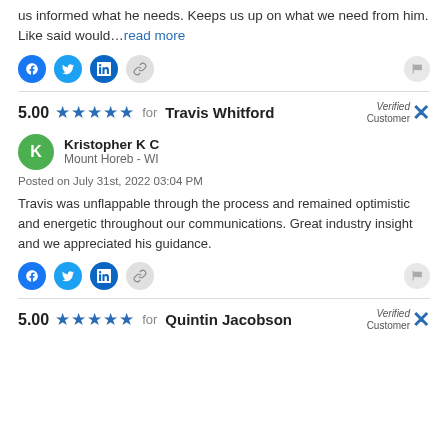us informed what he needs. Keeps us up on what we need from him. Like said would…read more
5.00 ★★★★★ for Travis Whitford [Verified Customer]
Kristopher K C
Mount Horeb - WI
Posted on July 31st, 2022 03:04 PM
Travis was unflappable through the process and remained optimistic and energetic throughout our communications. Great industry insight and we appreciated his guidance.
5.00 ★★★★★ for Quintin Jacobson [Verified Customer]